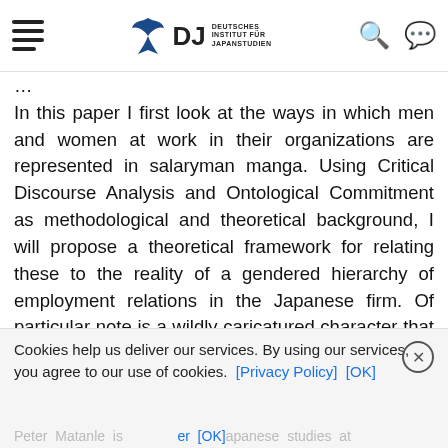[menu icon] DJ Deutsches Institut für Japanstudien [search icon] [language icon]
In this paper I first look at the ways in which men and women at work in their organizations are represented in salaryman manga. Using Critical Discourse Analysis and Ontological Commitment as methodological and theoretical background, I will propose a theoretical framework for relating these to the reality of a gendered hierarchy of employment relations in the Japanese firm. Of particular note is a wildly caricatured character that appears in the popular manga series 'Salaryman Kintaro', whom I call the 'overbearing American female boss from hell'. I will argue that it is through the depictions of characters such as these that legitimacy for Japan's culturally exceptionalist and male centred capitalism is socially constructed.
Cookies help us deliver our services. By using our services, you agree to our use of cookies. [Privacy Policy] [OK]
Peter Matanle is[Privacy Policy]er [OK]apanese studies at